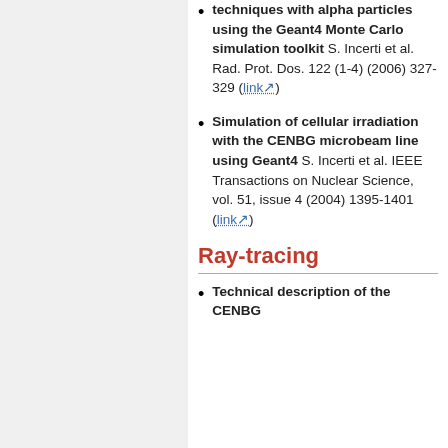techniques with alpha particles using the Geant4 Monte Carlo simulation toolkit S. Incerti et al. Rad. Prot. Dos. 122 (1-4) (2006) 327-329 (link)
Simulation of cellular irradiation with the CENBG microbeam line using Geant4 S. Incerti et al. IEEE Transactions on Nuclear Science, vol. 51, issue 4 (2004) 1395-1401 (link)
Ray-tracing
Technical description of the CENBG